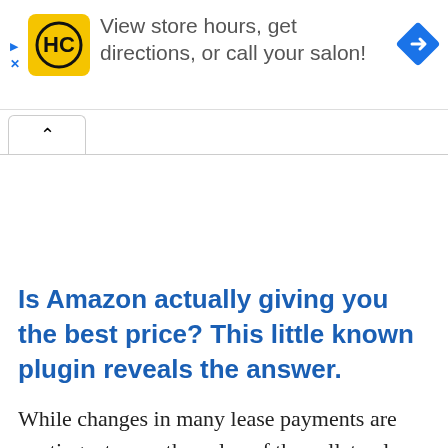[Figure (infographic): Advertisement banner with HC logo (yellow rounded square with HC text), text 'View store hours, get directions, or call your salon!', and a blue diamond navigation icon on the right. Play and X icons on the left edge.]
Is Amazon actually giving you the best price? This little known plugin reveals the answer.
While changes in many lease payments are contingent upon the value of the collateral pricing as a whole...